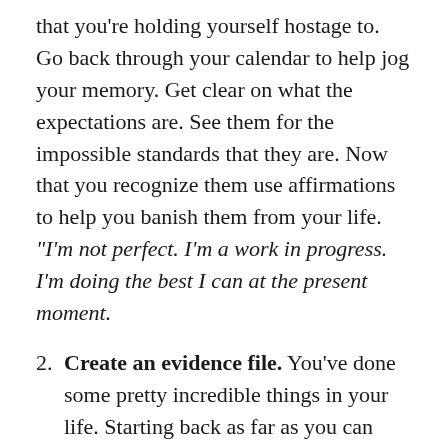that you're holding yourself hostage to. Go back through your calendar to help jog your memory. Get clear on what the expectations are. See them for the impossible standards that they are. Now that you recognize them use affirmations to help you banish them from your life. "I'm not perfect. I'm a work in progress. I'm doing the best I can at the present moment.
2. Create an evidence file. You've done some pretty incredible things in your life. Starting back as far as you can begin writing out the awesome things you've done. Graduated from high school. Graduated from college. Got married. Had children. Got a raise. Was generous with your time. Got physically fit. Bought a house.